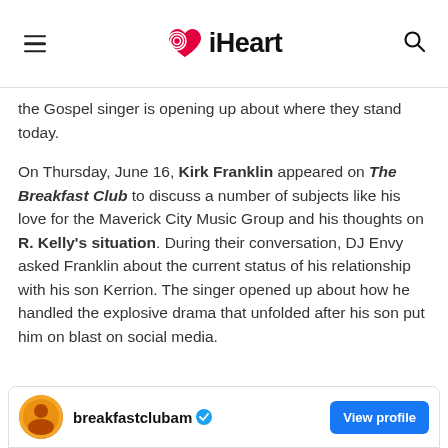iHeart
the Gospel singer is opening up about where they stand today.
On Thursday, June 16, Kirk Franklin appeared on The Breakfast Club to discuss a number of subjects like his love for the Maverick City Music Group and his thoughts on R. Kelly's situation. During their conversation, DJ Envy asked Franklin about the current status of his relationship with his son Kerrion. The singer opened up about how he handled the explosive drama that unfolded after his son put him on blast on social media.
breakfastclubam  View profile